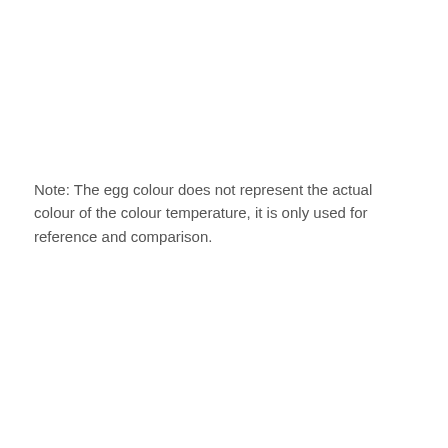Note: The egg colour does not represent the actual colour of the colour temperature, it is only used for reference and comparison.